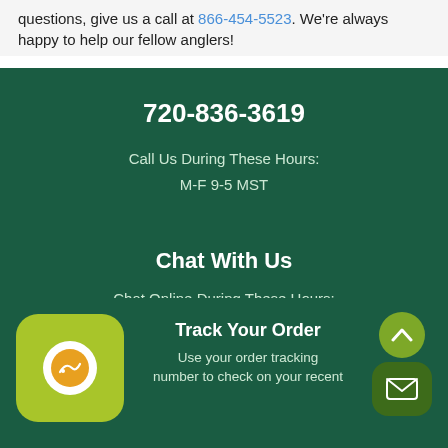questions, give us a call at 866-454-5523. We're always happy to help our fellow anglers!
720-836-3619
Call Us During These Hours:
M-F 9-5 MST
Chat With Us
Chat Online During These Hours:
M-F 9-5 MST
[Figure (logo): Company logo in a yellow-green rounded square]
Track Your Order
Use your order tracking number to check on your recent